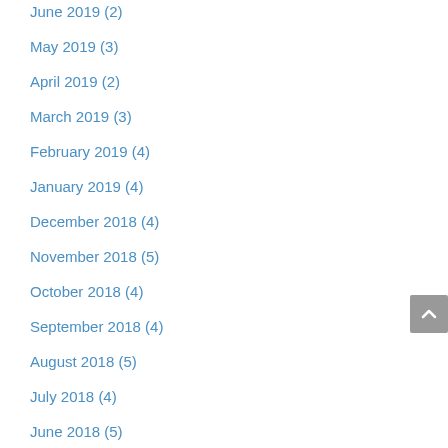June 2019 (2)
May 2019 (3)
April 2019 (2)
March 2019 (3)
February 2019 (4)
January 2019 (4)
December 2018 (4)
November 2018 (5)
October 2018 (4)
September 2018 (4)
August 2018 (5)
July 2018 (4)
June 2018 (5)
May 2018 (4)